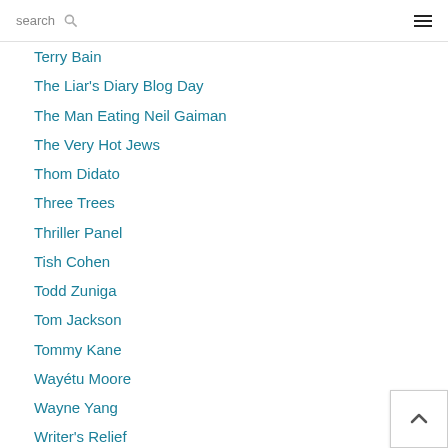search [hamburger menu]
Terry Bain
The Liar's Diary Blog Day
The Man Eating Neil Gaiman
The Very Hot Jews
Thom Didato
Three Trees
Thriller Panel
Tish Cohen
Todd Zuniga
Tom Jackson
Tommy Kane
Wayétu Moore
Wayne Yang
Writer's Relief
Xujun Eberlein
You